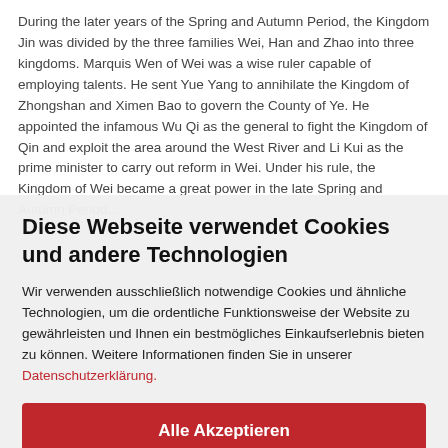During the later years of the Spring and Autumn Period, the Kingdom Jin was divided by the three families Wei, Han and Zhao into three kingdoms. Marquis Wen of Wei was a wise ruler capable of employing talents. He sent Yue Yang to annihilate the Kingdom of Zhongshan and Ximen Bao to govern the County of Ye. He appointed the infamous Wu Qi as the general to fight the Kingdom of Qin and exploit the area around the West River and Li Kui as the prime minister to carry out reform in Wei. Under his rule, the Kingdom of Wei...
Diese Webseite verwendet Cookies und andere Technologien
Wir verwenden ausschließlich notwendige Cookies und ähnliche Technologien, um die ordentliche Funktionsweise der Website zu gewährleisten und Ihnen ein bestmögliches Einkaufserlebnis bieten zu können. Weitere Informationen finden Sie in unserer Datenschutzerklärung.
Alle Akzeptieren
Weitere Informationen